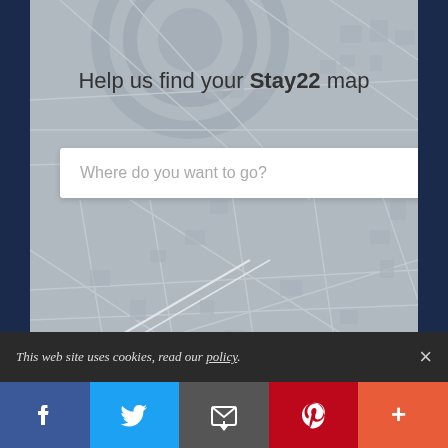[Figure (map): Greyscale city map background with road network, building footprints, and concentric circle overlay. Used as background for Stay22 map search interface.]
Help us find your Stay22 map
Where do you want to go?
This is not the Stay22 map, we can't find your Stay22 map
This web site uses cookies, read our policy.
[Figure (infographic): Social sharing bar with Facebook (blue), Twitter (cyan), Email (grey), Pinterest (red), and More (orange-red) buttons with icons.]